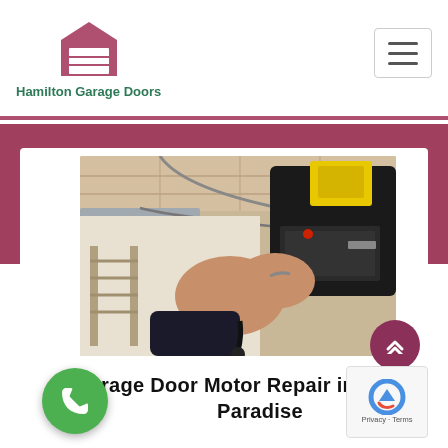Hamilton Garage Doors
[Figure (photo): A technician's hands working on a garage door motor opener (LiftMaster brand), with cables and mechanical components visible in a garage setting.]
Garage Door Motor Repair in Cooter's Paradise
When it comes to garage door motor repair Garage Doors